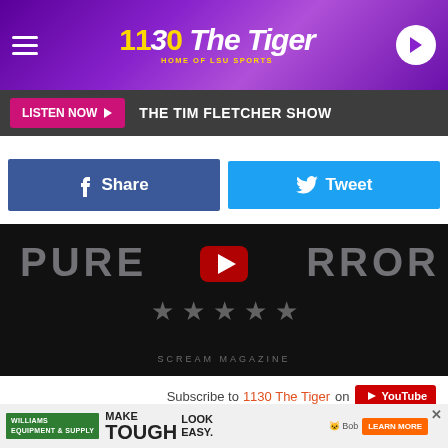[Figure (screenshot): 1130 The Tiger radio station website header banner with purple gradient background, hamburger menu on left, logo in center, play button on right]
LISTEN NOW ▶  THE TIM FLETCHER SHOW
[Figure (screenshot): Facebook Share button (blue) and Twitter Tweet button (cyan) side by side]
[Figure (screenshot): Dark video thumbnail showing 'PURE [YouTube play icon] RROR' text with stars and 'SCREAM MAGAZINE' label]
Subscribe to 1130 The Tiger on  YouTube
This one looks pretty odd, nicely splitting the line between homage and being derivative. The film premieres in the U.K.
[Figure (screenshot): Williams Equipment & Supply advertisement: MAKE TOUGH LOOK EASY with LEARN MORE button]